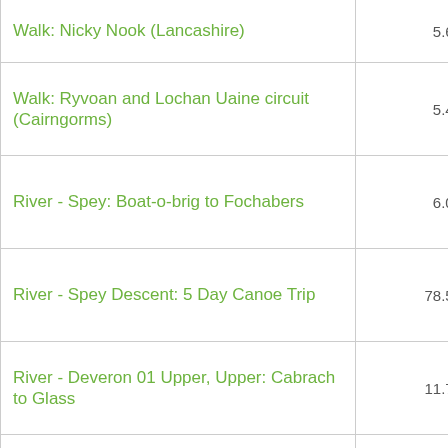| Route | Distance |
| --- | --- |
| Walk: Nicky Nook (Lancashire) | 5.65 mi |
| Walk: Ryvoan and Lochan Uaine circuit (Cairngorms) | 5.48 mi |
| River - Spey: Boat-o-brig to Fochabers | 6.02 mi |
| River - Spey Descent: 5 Day Canoe Trip | 78.50 mi |
| River - Deveron 01 Upper, Upper: Cabrach to Glass | 11.72 mi |
| River - Deveron (Lynebain to Huntly) | 12.77 mi |
| River - Deveron 01: Miltown to Glass | 7.42 mi |